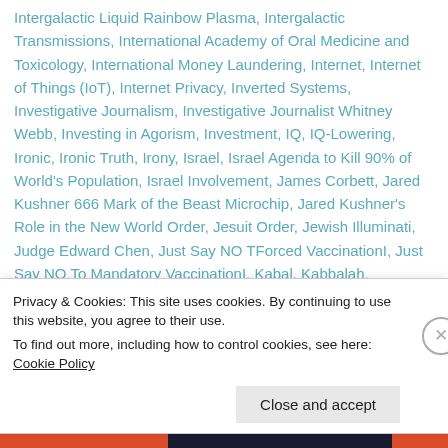Intergalactic Liquid Rainbow Plasma, Intergalactic Transmissions, International Academy of Oral Medicine and Toxicology, International Money Laundering, Internet, Internet of Things (IoT), Internet Privacy, Inverted Systems, Investigative Journalism, Investigative Journalist Whitney Webb, Investing in Agorism, Investment, IQ, IQ-Lowering, Ironic, Ironic Truth, Irony, Israel, Israel Agenda to Kill 90% of World's Population, Israel Involvement, James Corbett, Jared Kushner 666 Mark of the Beast Microchip, Jared Kushner's Role in the New World Order, Jesuit Order, Jewish Illuminati, Judge Edward Chen, Just Say NO TForced VaccinationI, Just Say NO To Mandatory VaccinationI, Kabal, Kabbalah,
Privacy & Cookies: This site uses cookies. By continuing to use this website, you agree to their use.
To find out more, including how to control cookies, see here: Cookie Policy